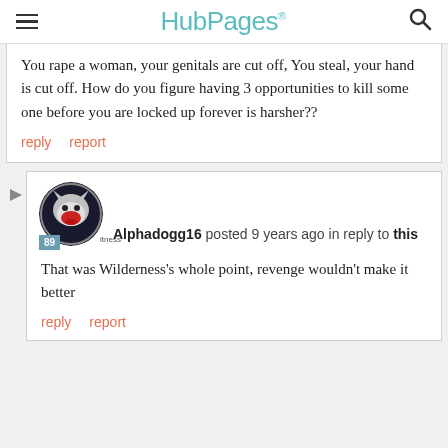HubPages
You rape a woman, your genitals are cut off, You steal, your hand is cut off. How do you figure having 3 opportunities to kill some one before you are locked up forever is harsher??
reply   report
Alphadogg16 posted 9 years ago in reply to this
That was Wilderness's whole point, revenge wouldn't make it better
reply   report